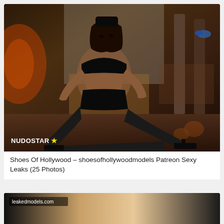[Figure (photo): A woman in black lingerie and high heels posing on the floor against a stylized background with decorative elements. A watermark reads 'NUDOSTAR' with a yellow star.]
Shoes Of Hollywood – shoesofhollywoodmodels Patreon Sexy Leaks (25 Photos)
[Figure (photo): Partial view of a second photo card with 'leakedmodels.com' watermark visible on a dark background.]